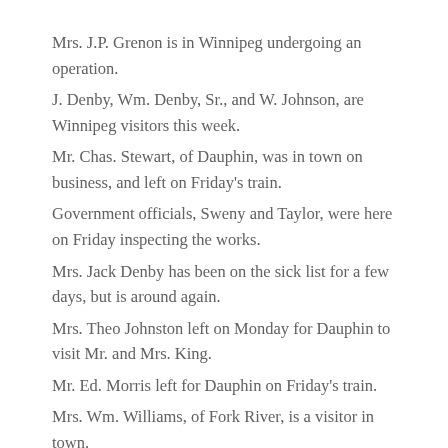Mrs. J.P. Grenon is in Winnipeg undergoing an operation.
J. Denby, Wm. Denby, Sr., and W. Johnson, are Winnipeg visitors this week.
Mr. Chas. Stewart, of Dauphin, was in town on business, and left on Friday's train.
Government officials, Sweny and Taylor, were here on Friday inspecting the works.
Mrs. Jack Denby has been on the sick list for a few days, but is around again.
Mrs. Theo Johnston left on Monday for Dauphin to visit Mr. and Mrs. King.
Mr. Ed. Morris left for Dauphin on Friday's train.
Mrs. Wm. Williams, of Fork River, is a visitor in town.